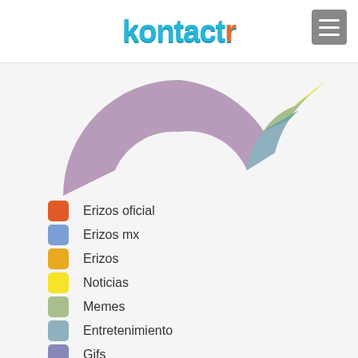kontactr
[Figure (donut-chart): Partial donut chart showing category distribution. Large mauve/purple segment dominates. Smaller segments: teal/slate blue, green, yellow visible on right side.]
Erizos oficial
Erizos mx
Erizos
Noticias
Memes
Entretenimiento
Gifs
Videos